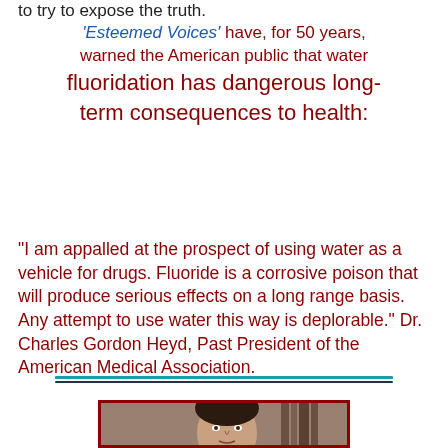to try to expose the truth.
'Esteemed Voices' have, for 50 years, warned the American public that water fluoridation has dangerous long-term consequences to health:
“I am appalled at the prospect of using water as a vehicle for drugs. Fluoride is a corrosive poison that will produce serious effects on a long range basis. Any attempt to use water this way is deplorable.” Dr. Charles Gordon Heyd, Past President of the American Medical Association.
[Figure (photo): Black and white photo of a man (Dr. Charles Gordon Heyd) in what appears to be an office setting with bookshelves in the background]